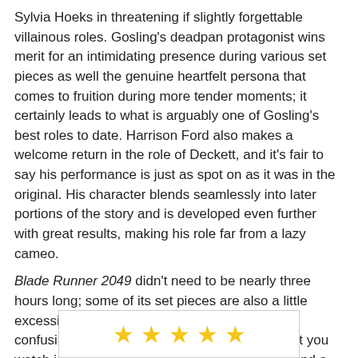Sylvia Hoeks in threatening if slightly forgettable villainous roles. Gosling's deadpan protagonist wins merit for an intimidating presence during various set pieces as well the genuine heartfelt persona that comes to fruition during more tender moments; it certainly leads to what is arguably one of Gosling's best roles to date. Harrison Ford also makes a welcome return in the role of Deckett, and it's fair to say his performance is just as spot on as it was in the original. His character blends seamlessly into later portions of the story and is developed even further with great results, making his role far from a lazy cameo.
Blade Runner 2049 didn't need to be nearly three hours long; some of its set pieces are also a little excessive, and the plot undeniably gets a little confusing during its deeper moments. Still, what you watch is an enthralling piece of science fiction and a worthy successor to a beloved cult classic. Fans of the original will be just as impressed as those fairly new to the story; it's certainly a shame to see it fail to attract a larger audience, for it deserves one for sure.
[Figure (other): Five gold star rating icons partially visible at the bottom of the page inside a bordered box]